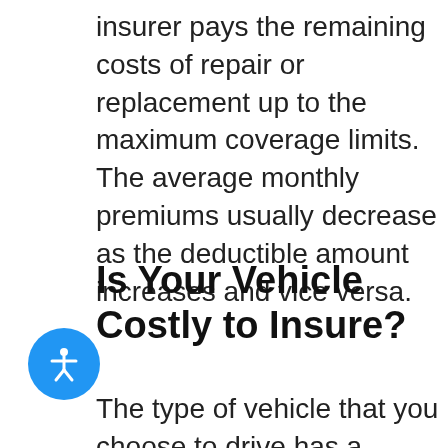insurer pays the remaining costs of repair or replacement up to the maximum coverage limits. The average monthly premiums usually decrease as the deductible amount increases and vice versa.
Is Your Vehicle Costly to Insure?
The type of vehicle that you choose to drive has a considerable impact on comprehensive and collision insurance premiums. The worth of the vehicle itself is also a major factor. Insurers